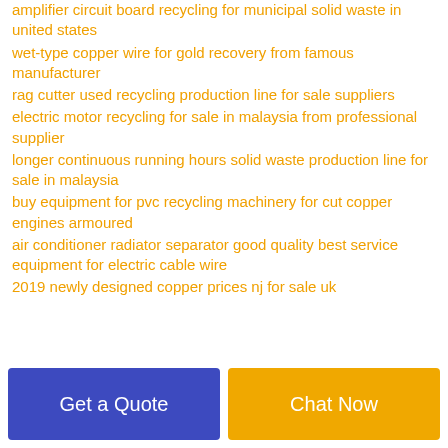amplifier circuit board recycling for municipal solid waste in united states
wet-type copper wire for gold recovery from famous manufacturer
rag cutter used recycling production line for sale suppliers
electric motor recycling for sale in malaysia from professional supplier
longer continuous running hours solid waste production line for sale in malaysia
buy equipment for pvc recycling machinery for cut copper engines armoured
air conditioner radiator separator good quality best service equipment for electric cable wire
2019 newly designed copper prices nj for sale uk
Get a Quote | Chat Now